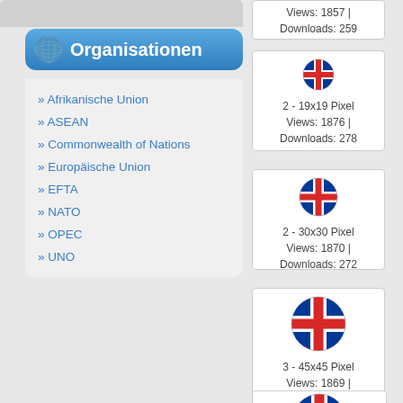Views: 1857 | Downloads: 259
Organisationen
Afrikanische Union
ASEAN
Commonwealth of Nations
Europäische Union
EFTA
NATO
OPEC
UNO
[Figure (illustration): Circular Iceland flag icon, small size]
2 - 19x19 Pixel
Views: 1876 | Downloads: 278
[Figure (illustration): Circular Iceland flag icon, medium size 30x30]
2 - 30x30 Pixel
Views: 1870 | Downloads: 272
[Figure (illustration): Circular Iceland flag icon, larger size 45x45]
3 - 45x45 Pixel
Views: 1869 | Downloads: 271
[Figure (illustration): Circular Iceland flag icon, partial view at bottom]